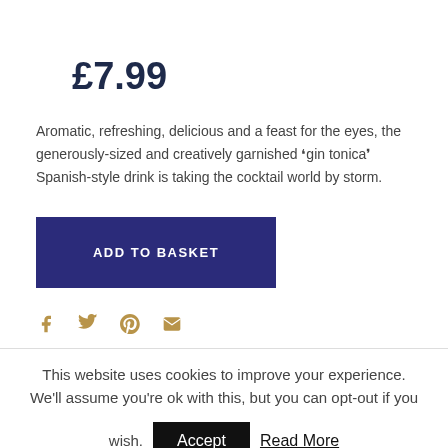£7.99
Aromatic, refreshing, delicious and a feast for the eyes, the generously-sized and creatively garnished 'gin tonica' Spanish-style drink is taking the cocktail world by storm.
ADD TO BASKET
[Figure (other): Social share icons: Facebook, Twitter, Pinterest, Email — displayed in gold/tan color]
This website uses cookies to improve your experience. We'll assume you're ok with this, but you can opt-out if you wish.
Accept   Read More